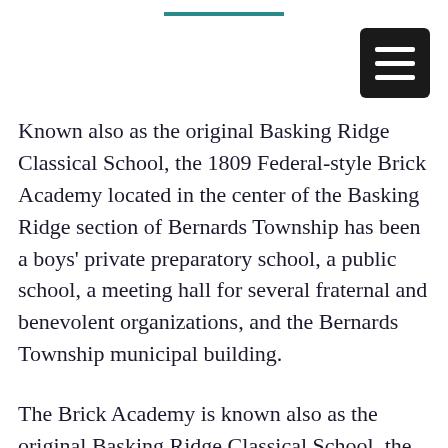[Figure (other): Teal horizontal decorative bar at top center of page]
[Figure (other): Dark square menu/hamburger icon button with three white horizontal lines, positioned top right]
Known also as the original Basking Ridge Classical School, the 1809 Federal-style Brick Academy located in the center of the Basking Ridge section of Bernards Township has been a boys' private preparatory school, a public school, a meeting hall for several fraternal and benevolent organizations, and the Bernards Township municipal building.
The Brick Academy is known also as the original Basking Ridge Classical School, the 1809 Federal-style Brick Academy located in the center of the Basking Ridge section of Bernards Township. The structure has also served as a boys' private preparatory school, a public school, a meeting hall